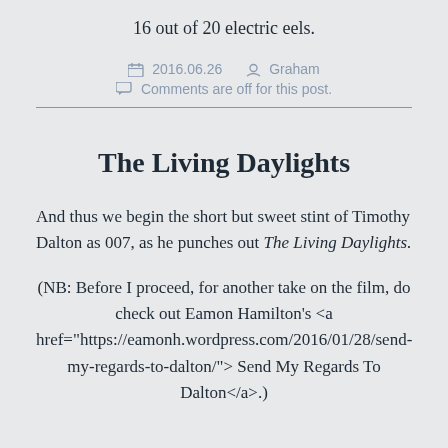16 out of 20 electric eels.
2016.06.26   Graham
Comments are off for this post.
The Living Daylights
And thus we begin the short but sweet stint of Timothy Dalton as 007, as he punches out The Living Daylights.
(NB: Before I proceed, for another take on the film, do check out Eamon Hamilton's <a href="https://eamonh.wordpress.com/2016/01/28/send-my-regards-to-dalton/"> Send My Regards To Dalton</a>.)